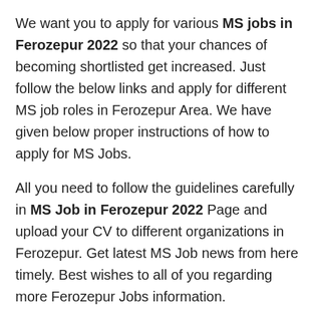We want you to apply for various MS jobs in Ferozepur 2022 so that your chances of becoming shortlisted get increased. Just follow the below links and apply for different MS job roles in Ferozepur Area. We have given below proper instructions of how to apply for MS Jobs.
All you need to follow the guidelines carefully in MS Job in Ferozepur 2022 Page and upload your CV to different organizations in Ferozepur. Get latest MS Job news from here timely. Best wishes to all of you regarding more Ferozepur Jobs information.
Why us for MS pass job in Ferozepur 2022 notification ?